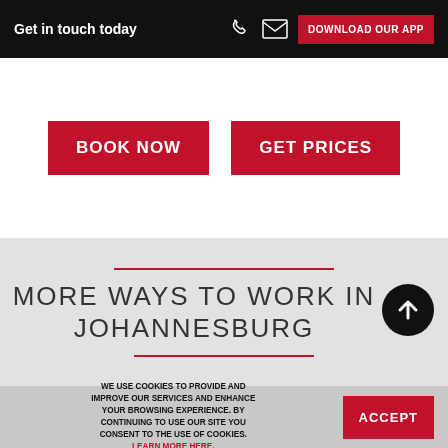Get in touch today
BOOK NOW
GET PRICES
MORE WAYS TO WORK IN JOHANNESBURG
WE USE COOKIES TO PROVIDE AND IMPROVE OUR SERVICES AND ENHANCE YOUR BROWSING EXPERIENCE. BY CONTINUING TO USE OUR SITE YOU CONSENT TO THE USE OF COOKIES. LEARN MORE HERE.